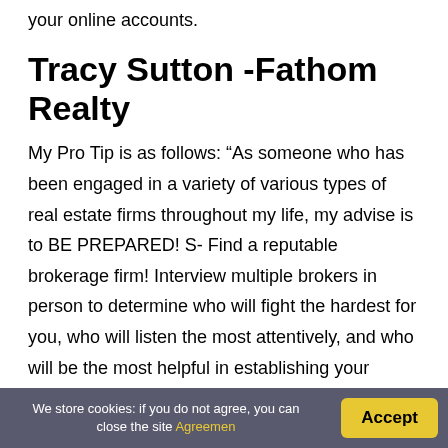your online accounts.
Tracy Sutton -Fathom Realty
My Pro Tip is as follows: “As someone who has been engaged in a variety of various types of real estate firms throughout my life, my advise is to BE PREPARED! S- Find a reputable brokerage firm! Interview multiple brokers in person to determine who will fight the hardest for you, who will listen the most attentively, and who will be the most helpful in establishing your business based on their interaction. Make it clear that you are doing an interview with
We store cookies: if you do not agree, you can close the site Agreemen